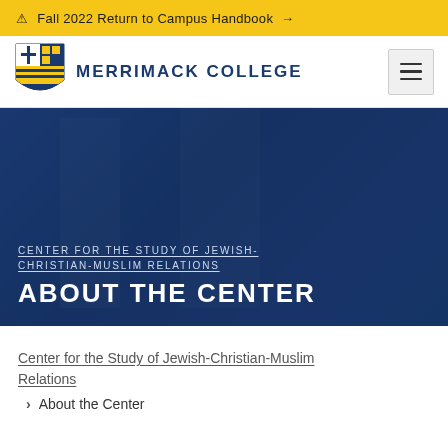⚠ Fall 2022 Return to Campus Handbook →
[Figure (logo): Merrimack College shield logo with cross and stripes]
MERRIMACK COLLEGE
[Figure (photo): Hero banner showing students on campus with blue overlay, featuring Center for the Study of Jewish-Christian-Muslim Relations section header and About the Center title]
CENTER FOR THE STUDY OF JEWISH-CHRISTIAN-MUSLIM RELATIONS
ABOUT THE CENTER
Center for the Study of Jewish-Christian-Muslim Relations
> About the Center